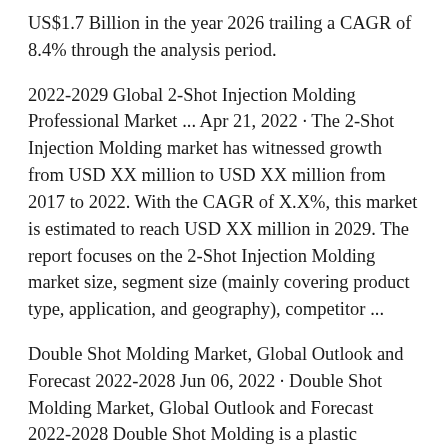US$1.7 Billion in the year 2026 trailing a CAGR of 8.4% through the analysis period.
2022-2029 Global 2-Shot Injection Molding Professional Market ... Apr 21, 2022 · The 2-Shot Injection Molding market has witnessed growth from USD XX million to USD XX million from 2017 to 2022. With the CAGR of X.X%, this market is estimated to reach USD XX million in 2029. The report focuses on the 2-Shot Injection Molding market size, segment size (mainly covering product type, application, and geography), competitor ...
Double Shot Molding Market, Global Outlook and Forecast 2022-2028 Jun 06, 2022 · Double Shot Molding Market, Global Outlook and Forecast 2022-2028 Double Shot Molding is a plastic molding process in which two different plastic resins are molded together in a single machining cycle. This report